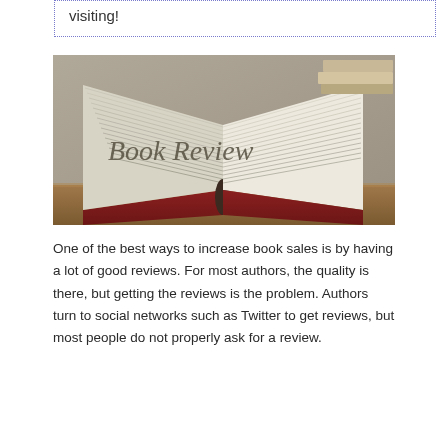visiting!
[Figure (photo): Open book with pages fanned out on a wooden surface, with 'Book Review' text overlaid in italic serif font. Books are stacked in the background.]
One of the best ways to increase book sales is by having a lot of good reviews. For most authors, the quality is there, but getting the reviews is the problem. Authors turn to social networks such as Twitter to get reviews, but most people do not properly ask for a review.